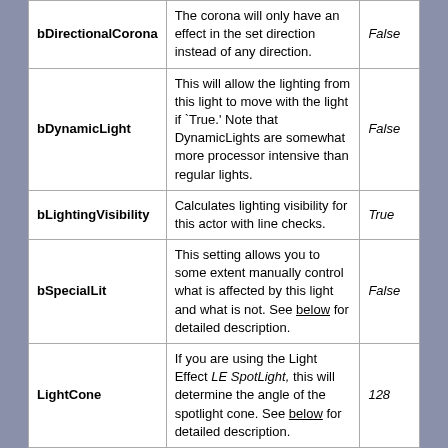| Name | Description | Default |
| --- | --- | --- |
| bDirectionalCorona | The corona will only have an effect in the set direction instead of any direction. | False |
| bDynamicLight | This will allow the lighting from this light to move with the light if `True.' Note that DynamicLights are somewhat more processor intensive than regular lights. | False |
| bLightingVisibility | Calculates lighting visibility for this actor with line checks. | True |
| bSpecialLit | This setting allows you to some extent manually control what is affected by this light and what is not. See below for detailed description. | False |
| LightCone | If you are using the Light Effect LE SpotLight, this will determine the angle of the spotlight cone. See below for detailed description. | 128 |
| ... | These are ready made |  |